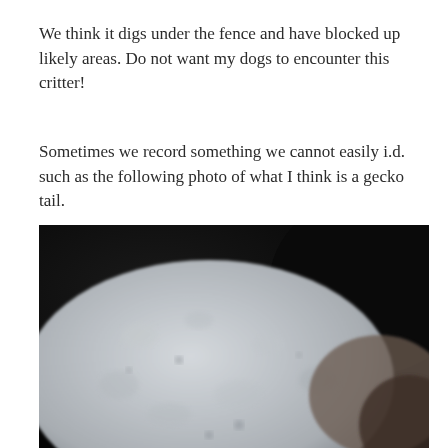We think it digs under the fence and have blocked up likely areas. Do not want my dogs to encounter this critter!
Sometimes we record something we cannot easily i.d. such as the following photo of what I think is a gecko tail.
[Figure (photo): Close-up blurry photograph of what appears to be a gecko tail — a pale grayish-white, scaly, rounded body part against a dark background.]